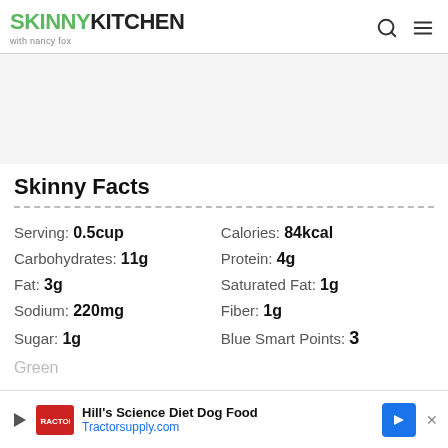SKINNY KITCHEN with nancy fox
Skinny Facts
| Serving: 0.5cup | Calories: 84kcal |
| Carbohydrates: 11g | Protein: 4g |
| Fat: 3g | Saturated Fat: 1g |
| Sodium: 220mg | Fiber: 1g |
| Sugar: 1g | Blue Smart Points: 3 |
Green
[Figure (other): Advertisement banner: Hill's Science Diet Dog Food - Tractorsupply.com]